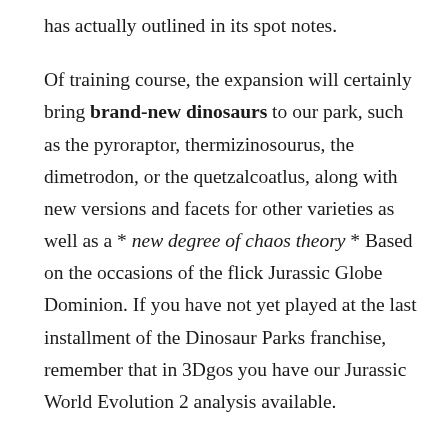has actually outlined in its spot notes.
Of training course, the expansion will certainly bring brand-new dinosaurs to our park, such as the pyroraptor, thermizinosourus, the dimetrodon, or the quetzalcoatlus, along with new versions and facets for other varieties as well as a * new degree of chaos theory * Based on the occasions of the flick Jurassic Globe Dominion. If you have not yet played at the last installment of the Dinosaur Parks franchise, remember that in 3Dgos you have our Jurassic World Evolution 2 analysis available.
If you enjoy dinosaurs and the Steven Spielberg film saga, you will definitely Two generations of characters